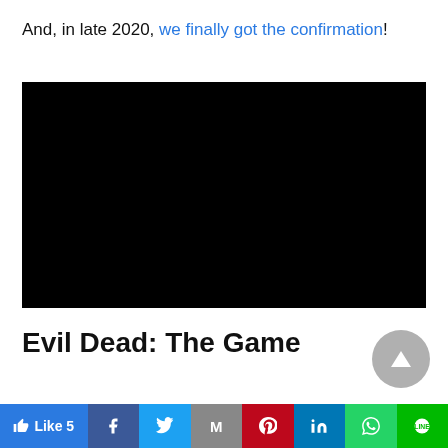And, in late 2020, we finally got the confirmation!
[Figure (screenshot): Black video embed placeholder]
Evil Dead: The Game
Developed by 'Saber Interactive', hope
Like 5 | Facebook | Twitter | Gmail | Pinterest | LinkedIn | WhatsApp | LINE